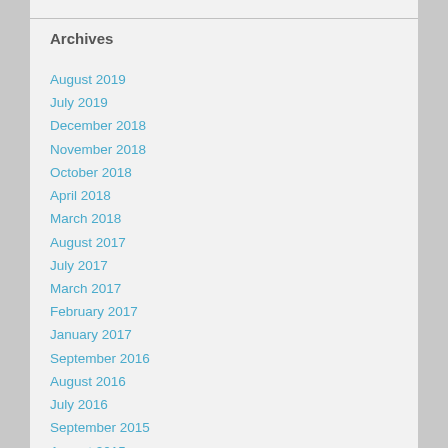Archives
August 2019
July 2019
December 2018
November 2018
October 2018
April 2018
March 2018
August 2017
July 2017
March 2017
February 2017
January 2017
September 2016
August 2016
July 2016
September 2015
August 2015
July 2015
June 2015
May 2015